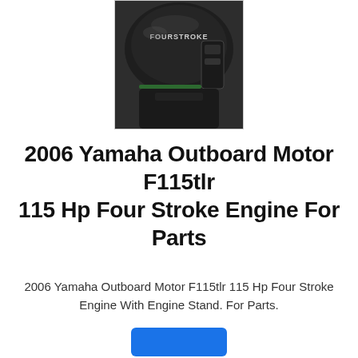[Figure (photo): Close-up photo of a Yamaha FourStroke outboard motor engine cover, dark/black color, with 'FOURSTROKE' text visible on the cowling.]
2006 Yamaha Outboard Motor F115tlr 115 Hp Four Stroke Engine For Parts
2006 Yamaha Outboard Motor F115tlr 115 Hp Four Stroke Engine With Engine Stand. For Parts.
[Figure (other): Blue button at the bottom of the page, partially visible.]